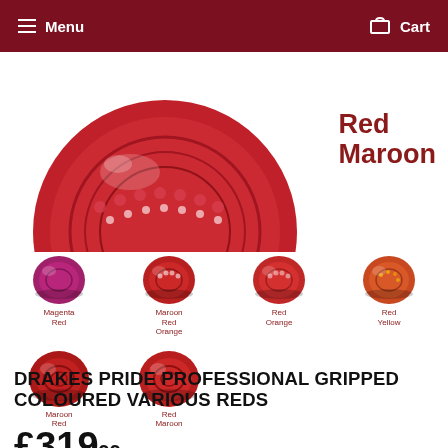Menu  Cart
[Figure (photo): Close-up top view of a red maroon lawn bowl with concentric rings and grip dots pattern]
Red Maroon
[Figure (photo): Six color swatch bowls: Magenta Red, Maroon Red Orange, Red Orange, Red Yellow (row 1); Maroon Red, Red Maroon (row 2)]
DRAKES PRIDE PROFESSIONAL GRIPPED COLOURED VARIOUS REDS
£319.99